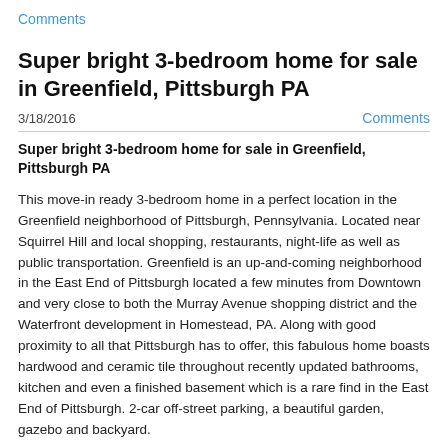Comments
Super bright 3-bedroom home for sale in Greenfield, Pittsburgh PA
3/18/2016   Comments
Super bright 3-bedroom home for sale in Greenfield, Pittsburgh PA
This move-in ready 3-bedroom home in a perfect location in the Greenfield neighborhood of Pittsburgh, Pennsylvania. Located near Squirrel Hill and local shopping, restaurants, night-life as well as public transportation. Greenfield is an up-and-coming neighborhood in the East End of Pittsburgh located a few minutes from Downtown and very close to both the Murray Avenue shopping district and the Waterfront development in Homestead, PA. Along with good proximity to all that Pittsburgh has to offer, this fabulous home boasts hardwood and ceramic tile throughout recently updated bathrooms, kitchen and even a finished basement which is a rare find in the East End of Pittsburgh. 2-car off-street parking, a beautiful garden, gazebo and backyard.